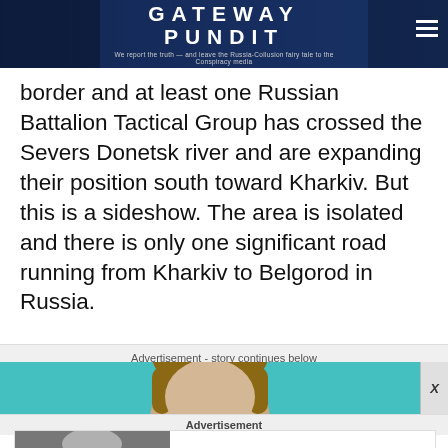GATEWAY PUNDIT — We report the truth — and leave the Russia-Collusion fairy tale to the Conspiracy media
border and at least one Russian Battalion Tactical Group has crossed the Severs Donetsk river and are expanding their position south toward Kharkiv. But this is a sideshow. The area is isolated and there is only one significant road running from Kharkiv to Belgorod in Russia.
Advertisement - story continues below
[Figure (photo): Partial face/head photo in teal banner advertisement]
Advertisement
[Figure (photo): Photo of elderly man with glasses and tie next to ad text: They Found Time Not Only For Politics But Advertising — Brainberries]